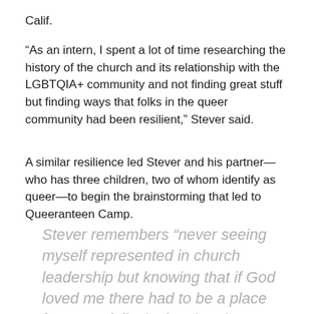Calif.
“As an intern, I spent a lot of time researching the history of the church and its relationship with the LGBTQIA+ community and not finding great stuff but finding ways that folks in the queer community had been resilient,” Stever said.
A similar resilience led Stever and his partner—who has three children, two of whom identify as queer—to begin the brainstorming that led to Queeranteen Camp.
Stever remembers “never seeing myself represented in church leadership but knowing that if God loved me there had to be a place for queer folks in the church.”